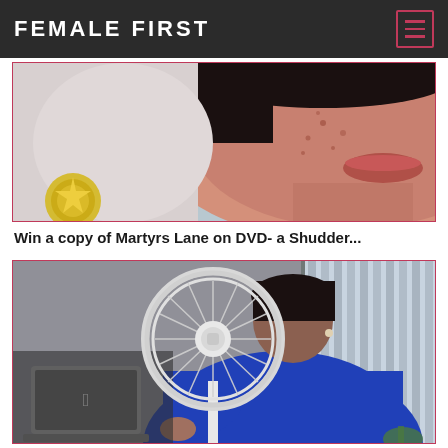FEMALE FIRST
[Figure (photo): Close-up photo of a face with acne/skin condition, partially cropped, with a golden badge/seal in the lower left corner]
Win a copy of Martyrs Lane on DVD- a Shudder...
[Figure (photo): A person in a blue turtleneck sweater holding a white portable electric fan in front of their face, with a MacBook laptop visible on the left, vertical blinds in the background, and a gray wall]